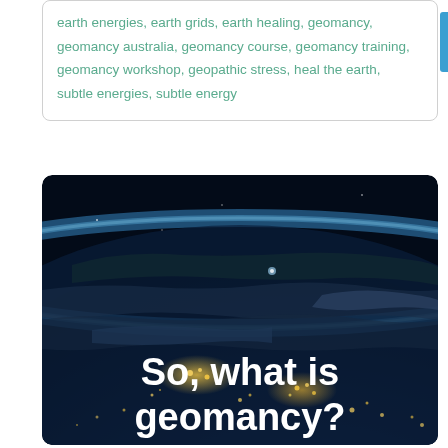earth energies, earth grids, earth healing, geomancy, geomancy australia, geomancy course, geomancy training, geomancy workshop, geopathic stress, heal the earth, subtle energies, subtle energy
[Figure (photo): Aerial/satellite photograph of Earth from space showing city lights glowing at night, cloud cover, and the blue atmosphere along the curved horizon. White bold text overlay reads 'So, what is geomancy?']